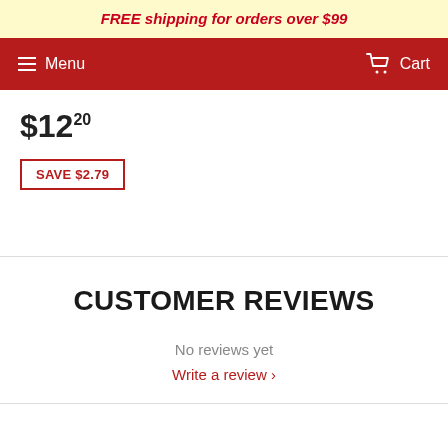FREE shipping for orders over $99
Menu  Cart
$12.20
SAVE $2.79
CUSTOMER REVIEWS
No reviews yet
Write a review ›